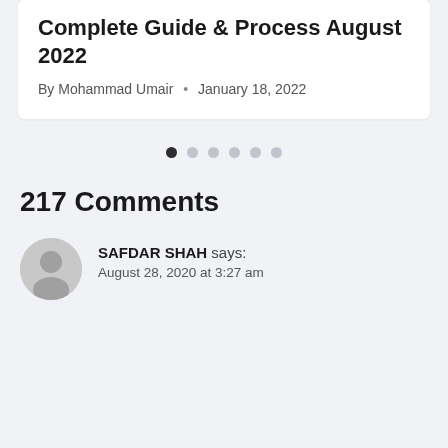Complete Guide & Process August 2022
By Mohammad Umair • January 18, 2022
[Figure (other): Carousel pagination dots — one filled dark, five grey]
217 Comments
SAFDAR SHAH says: August 28, 2020 at 3:27 am
User avatar (generic grey silhouette icon)